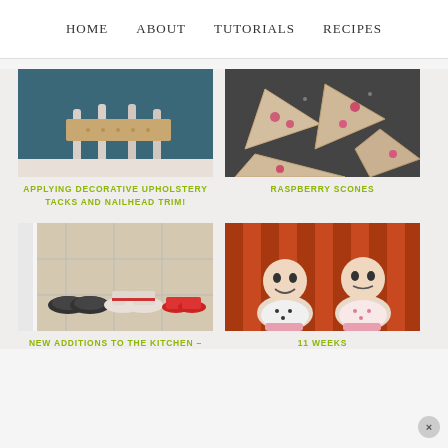HOME   ABOUT   TUTORIALS   RECIPES
[Figure (photo): White painted furniture piece / stool with decorative upholstery tacks in a room with teal walls]
APPLYING DECORATIVE UPHOLSTERY TACKS AND NAILHEAD TRIM!
[Figure (photo): Raspberry scones on a dark slate board, cut into triangular wedges]
RASPBERRY SCONES
[Figure (photo): Three pairs of shoes lined up on a tile floor near white baseboard molding]
NEW ADDITIONS TO THE KITCHEN -
[Figure (photo): Two babies sitting together in an orange chair, smiling]
11 WEEKS